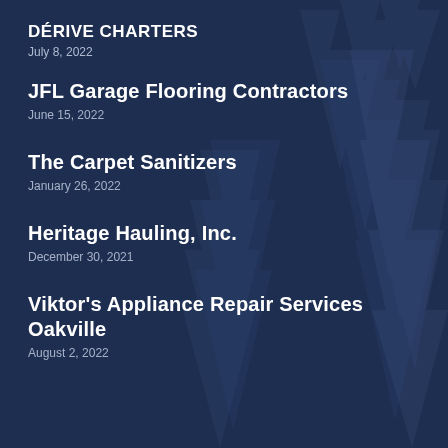DÉRIVE CHARTERS
July 8, 2022
JFL Garage Flooring Contractors
June 15, 2022
The Carpet Sanitizers
January 26, 2022
Heritage Hauling, Inc.
December 30, 2021
Viktor's Appliance Repair Services Oakville
August 2, 2022